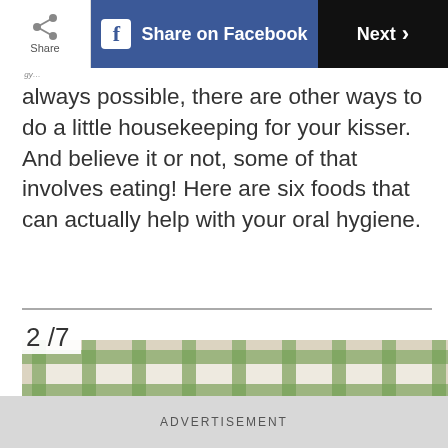Share | Share on Facebook | Next
always possible, there are other ways to do a little housekeeping for your kisser. And believe it or not, some of that involves eating! Here are six foods that can actually help with your oral hygiene.
2 /7
[Figure (photo): Baby carrots piled on a green and white checkered cloth/tablecloth, viewed close up from a low angle.]
ADVERTISEMENT